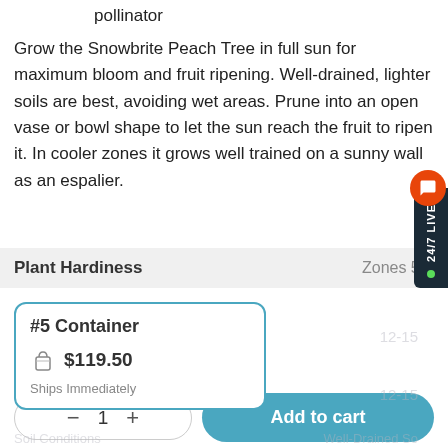pollinator
Grow the Snowbrite Peach Tree in full sun for maximum bloom and fruit ripening. Well-drained, lighter soils are best, avoiding wet areas. Prune into an open vase or bowl shape to let the sun reach the fruit to ripen it. In cooler zones it grows well trained on a sunny wall as an espalier.
| Property | Value |
| --- | --- |
| Plant Hardiness | Zones 5-9 |
| Mature Width | 12-15 |
| Mature Height | 12-15 |
| Soil Conditions | Well-Drained Soil |
#5 Container
$119.50
Ships Immediately
1
Add to cart